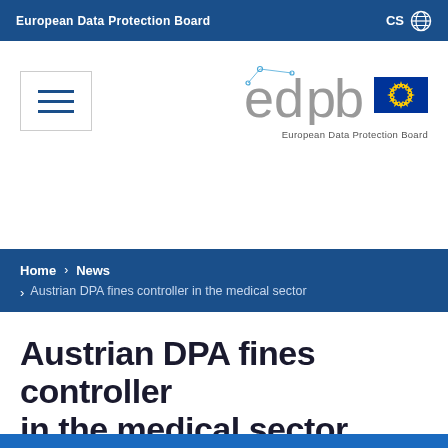European Data Protection Board
[Figure (logo): EDPB logo with stylized 'edpb' text in grey and EU flag (circle of yellow stars on blue background), with subtitle 'European Data Protection Board']
[Figure (other): Hamburger menu button (three horizontal lines) inside a bordered rectangle]
Home > News > Austrian DPA fines controller in the medical sector
Austrian DPA fines controller in the medical sector